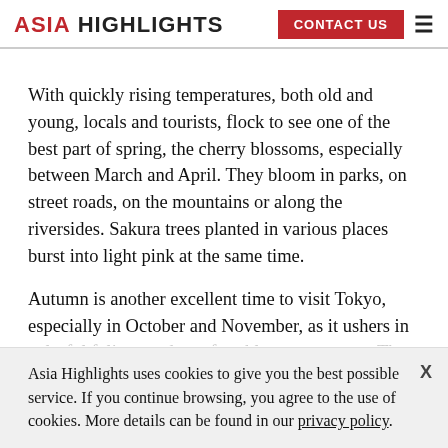ASIA HIGHLIGHTS | CONTACT US
With quickly rising temperatures, both old and young, locals and tourists, flock to see one of the best part of spring, the cherry blossoms, especially between March and April. They bloom in parks, on street roads, on the mountains or along the riversides. Sakura trees planted in various places burst into light pink at the same time.
Autumn is another excellent time to visit Tokyo, especially in October and November, as it ushers in colorful foliage and comfortable temperatures. The
Asia Highlights uses cookies to give you the best possible service. If you continue browsing, you agree to the use of cookies. More details can be found in our privacy policy.